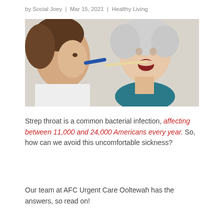by Social Joey | Mar 15, 2021 | Healthy Living
[Figure (photo): A healthcare worker using a tongue depressor to examine the throat of an elderly woman with white hair.]
Strep throat is a common bacterial infection, affecting between 11,000 and 24,000 Americans every year. So, how can we avoid this uncomfortable sickness?
Our team at AFC Urgent Care Ooltewah has the answers, so read on!